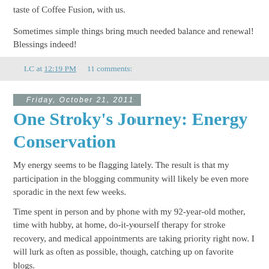taste of Coffee Fusion, with us.
Sometimes simple things bring much needed balance and renewal! Blessings indeed!
LC at 12:19 PM    11 comments:
Friday, October 21, 2011
One Stroky’s Journey: Energy Conservation
My energy seems to be flagging lately. The result is that my participation in the blogging community will likely be even more sporadic in the next few weeks.
Time spent in person and by phone with my 92-year-old mother, time with hubby, at home, do-it-yourself therapy for stroke recovery, and medical appointments are taking priority right now. I will lurk as often as possible, though, catching up on favorite blogs.